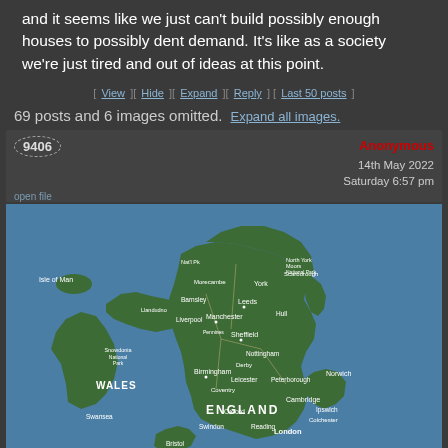and it seems like we just can't build possibly enough houses to possibly dent demand. It's like as a society we're just tired and out of ideas at this point.
[ View ][ Hide ][ Expand ][ Reply ] [ Last 50 posts ]
69 posts and 6 images omitted. Expand all images.
9406 Anonymous 14th May 2022 Saturday 6:57 pm
[Figure (map): Satellite map of England and Wales showing major cities including Manchester, Leeds, Birmingham, London, Sheffield, Cardiff and others. Isle of Man visible to the northwest. Blue sea surrounds the landmass.]